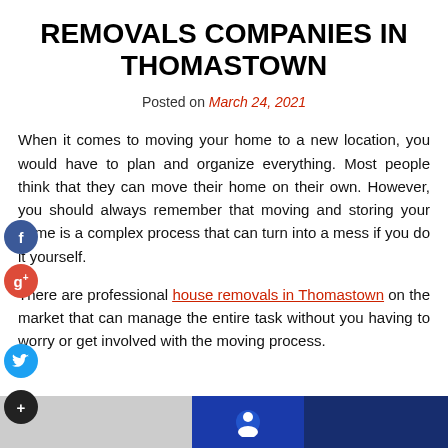REMOVALS COMPANIES IN THOMASTOWN
Posted on March 24, 2021
When it comes to moving your home to a new location, you would have to plan and organize everything. Most people think that they can move their home on their own. However, you should always remember that moving and storing your home is a complex process that can turn into a mess if you do it yourself.
There are professional house removals in Thomastown on the market that can manage the entire task without you having to worry or get involved with the moving process.
[Figure (other): Three partially visible thumbnail images at the bottom of the page]